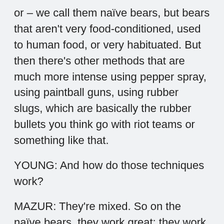or – we call them naïve bears, but bears that aren't very food-conditioned, used to human food, or very habituated. But then there's other methods that are much more intense using pepper spray, using paintball guns, using rubber slugs, which are basically the rubber bullets you think go with riot teams or something like that.
YOUNG: And how do those techniques work?
MAZUR: They're mixed. So on the naïve bears, they work great; they work great in saying, don't come into these areas, this is not a good place for you, you want to go back and eat acorns and eat berries and that sort of thing. With bears that have already received a lot of human food and are used to entering human areas, they're not very successful.
They will, however, keep bears away from humans,